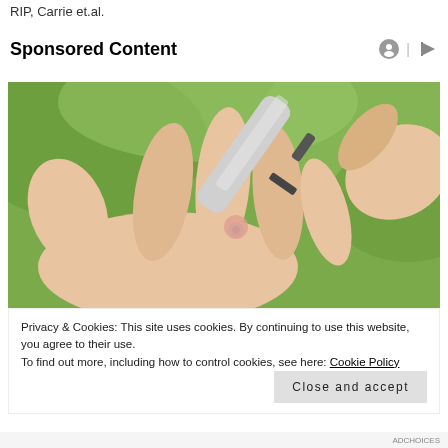RIP, Carrie et.al.
Sponsored Content
[Figure (photo): A close-up photo of a person's hand with fingertip being pricked by a silver lancet pen device for blood glucose testing, with a green blurred background.]
Privacy & Cookies: This site uses cookies. By continuing to use this website, you agree to their use.
To find out more, including how to control cookies, see here: Cookie Policy
Close and accept